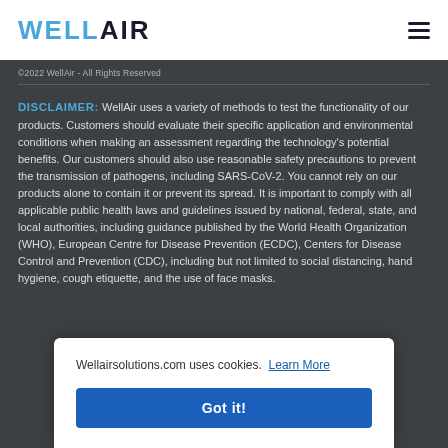WELLAIR
©2022 WellAir - All Rights Reserved
DISCLAIMER: WellAir uses a variety of methods to test the functionality of our products. Customers should evaluate their specific application and environmental conditions when making an assessment regarding the technology's potential benefits. Our customers should also use reasonable safety precautions to prevent the transmission of pathogens, including SARS-CoV-2. You cannot rely on our products alone to contain it or prevent its spread. It is important to comply with all applicable public health laws and guidelines issued by national, federal, state, and local authorities, including guidance published by the World Health Organization (WHO), European Centre for Disease Prevention (ECDC), Centers for Disease Control and Prevention (CDC), including but not limited to social distancing, hand hygiene, cough etiquette, and the use of face masks.
Wellairsolutions.com uses cookies. Learn More Got it!